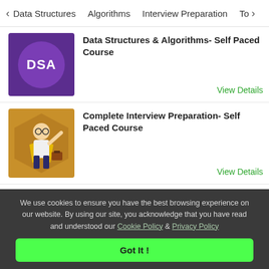< Data Structures   Algorithms   Interview Preparation   To>
[Figure (illustration): DSA logo on purple background with circle]
Data Structures & Algorithms- Self Paced Course
View Details
[Figure (illustration): Illustrated character of a graduate superhero on brown hexagonal background]
Complete Interview Preparation- Self Paced Course
View Details
[Figure (illustration): Practice with GFG logo on light green background with person at desk]
Practice Problems, POTD Streak, Weekly Contests & More!
We use cookies to ensure you have the best browsing experience on our website. By using our site, you acknowledge that you have read and understood our Cookie Policy & Privacy Policy
Got It !